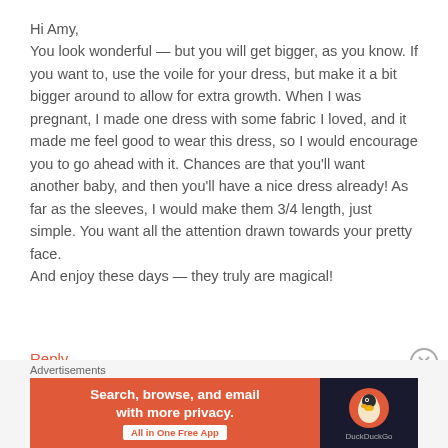Hi Amy,
You look wonderful — but you will get bigger, as you know. If you want to, use the voile for your dress, but make it a bit bigger around to allow for extra growth. When I was pregnant, I made one dress with some fabric I loved, and it made me feel good to wear this dress, so I would encourage you to go ahead with it. Chances are that you'll want another baby, and then you'll have a nice dress already! As far as the sleeves, I would make them 3/4 length, just simple. You want all the attention drawn towards your pretty face.
And enjoy these days — they truly are magical!
Reply
[Figure (other): Close/dismiss button (circled X icon)]
Advertisements
[Figure (other): DuckDuckGo advertisement banner with orange background. Text: Search, browse, and email with more privacy. All in One Free App. DuckDuckGo logo on dark background.]